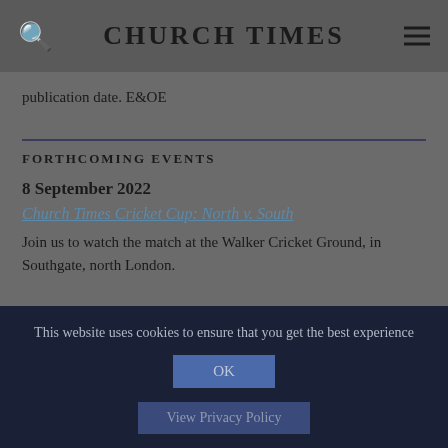CHURCH TIMES
publication date. E&OE
FORTHCOMING EVENTS
8 September 2022
Church Times Cricket Cup: North v. South
Join us to watch the match at the Walker Cricket Ground, in Southgate, north London.
This website uses cookies to ensure that you get the best experience
OK
View Privacy Policy